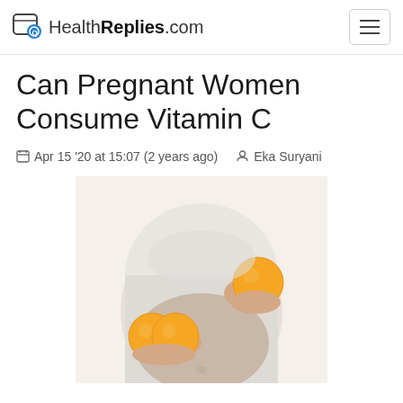HealthReplies.com
Can Pregnant Women Consume Vitamin C
Apr 15 '20 at 15:07 (2 years ago)  Eka Suryani
[Figure (photo): Pregnant woman in white top holding oranges - two oranges held at abdomen level and one orange in right hand]